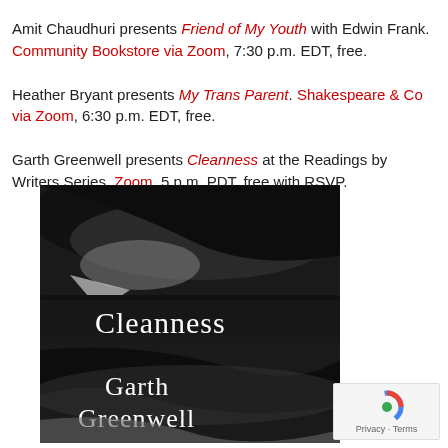Amit Chaudhuri presents Friend of My Youth with Edwin Frank. Community Bookstore via Zoom, 7:30 p.m. EDT, free.
Heather Bryant presents My Trans Parent. Shakespeare & Co via Zoom, 6:30 p.m. EDT, free.
Garth Greenwell presents Cleanness at the Readings by Writers Series. Zoom, 5 p.m. PDT, free with RSVP.
[Figure (photo): Book cover of Cleanness by Garth Greenwell — black and white photo of hands/fingers with the title 'Cleanness' and author name 'Garth Greenwell' in white text.]